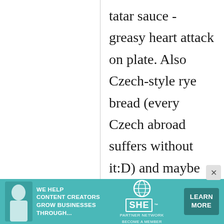tatar sauce - greasy heart attack on plate. Also Czech-style rye bread (every Czech abroad suffers without it:D) and maybe Marlenka - honey cake of paradoxically Armenian origin (and made by
[Figure (screenshot): Advertisement banner for SHE Partner Network with teal background, text 'We help content creators grow businesses through...', SHE logo with globe icon, and 'Learn More' button]